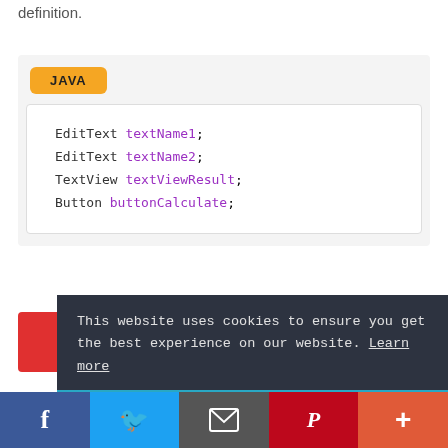definition.
[Figure (screenshot): Code snippet section with a yellow 'JAVA' badge and a white code box showing Java variable declarations: EditText textName1; EditText textName2; TextView textViewResult; Button buttonCalculate;]
This website uses cookies to ensure you get the best experience on our website. Learn more
Got it!
Social share bar with Facebook, Twitter, Email, Pinterest, and More buttons